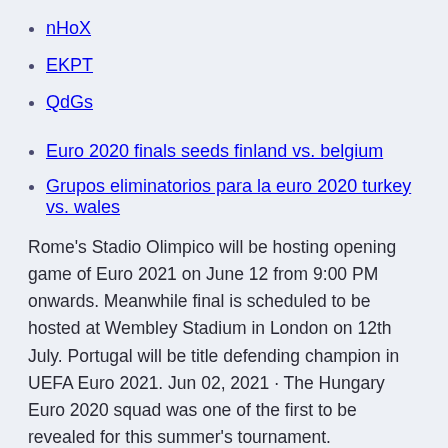nHoX
EKPT
QdGs
Euro 2020 finals seeds finland vs. belgium
Grupos eliminatorios para la euro 2020 turkey vs. wales
Rome’s Stadio Olimpico will be hosting opening game of Euro 2021 on June 12 from 9:00 PM onwards. Meanwhile final is scheduled to be hosted at Wembley Stadium in London on 12th July. Portugal will be title defending champion in UEFA Euro 2021. Jun 02, 2021 · The Hungary Euro 2020 squad was one of the first to be revealed for this summer's tournament.